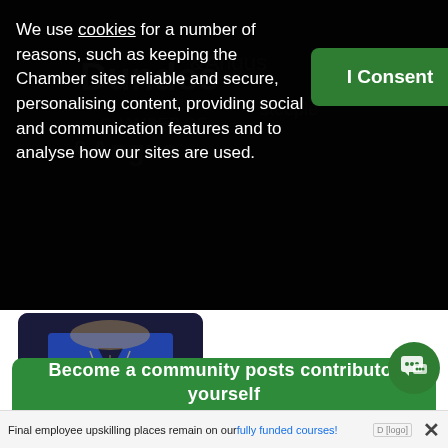We use cookies for a number of reasons, such as keeping the Chamber sites reliable and secure, personalising content, providing social and communication features and to analyse how our sites are used.
I Consent
[Figure (photo): A person wearing a blue top and pearl necklace, photographed from the neck/chest down, seated or standing, with a dark blurred background.]
Become a community posts contributor yourself today
Final employee upskilling places remain on our fully funded courses!